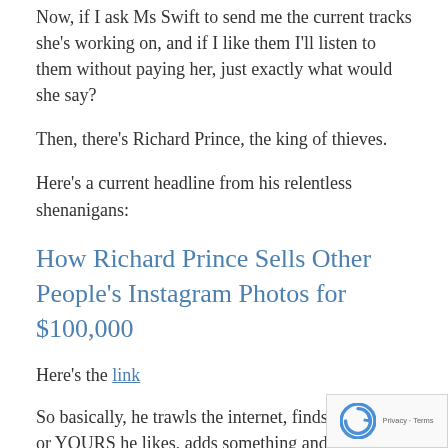Now, if I ask Ms Swift to send me the current tracks she's working on, and if I like them I'll listen to them without paying her, just exactly what would she say?
Then, there's Richard Prince, the king of thieves.
Here's a current headline from his relentless shenanigans:
How Richard Prince Sells Other People's Instagram Photos for $100,000
Here's the link
So basically, he trawls the internet, finds an image or YOURS he likes, adds something and sells it as his OWN art.
And he gets away from it mainly because he has